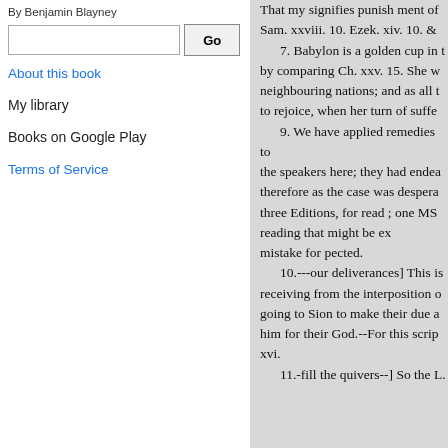By Benjamin Blayney
Go
About this book
My library
Books on Google Play
Terms of Service
That my signifies punish ment of Sam. xxviii. 10. Ezek. xiv. 10. &
7. Babylon is a golden cup in t by comparing Ch. xxv. 15. She w neighbouring nations; and as all t to rejoice, when her turn of suffe
9. We have applied remedies to the speakers here; they had endea therefore as the case was despera three Editions, for read ; one MS reading that might be ex
mistake for pected.
10.---our deliverances] This is receiving from the interposition o going to Sion to make their due a him for their God.--For this scrip xvi.
11.-fill the quivers--] So the L.